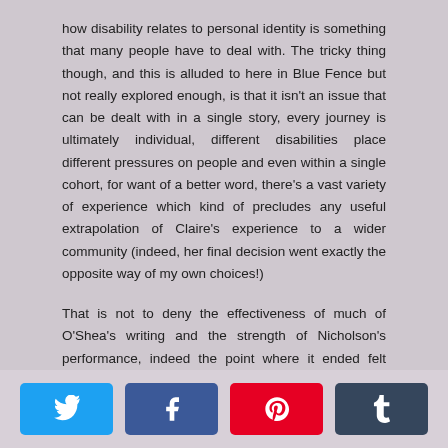how disability relates to personal identity is something that many people have to deal with. The tricky thing though, and this is alluded to here in Blue Fence but not really explored enough, is that it isn't an issue that can be dealt with in a single story, every journey is ultimately individual, different disabilities place different pressures on people and even within a single cohort, for want of a better word, there's a vast variety of experience which kind of precludes any useful extrapolation of Claire's experience to a wider community (indeed, her final decision went exactly the opposite way of my own choices!)
That is not to deny the effectiveness of much of O'Shea's writing and the strength of Nicholson's performance, indeed the point where it ended felt more appropriate for an interval as the development of the central idea there felt like a springboard for continuation and an examination of what it is like to live with that identity once it has been determined. So, probably one to class as a work-in-progress and I would be keen to see it again if/when it is
[Figure (other): Social share buttons row: Twitter (blue), Facebook (blue), Pinterest (red), Tumblr (dark grey)]